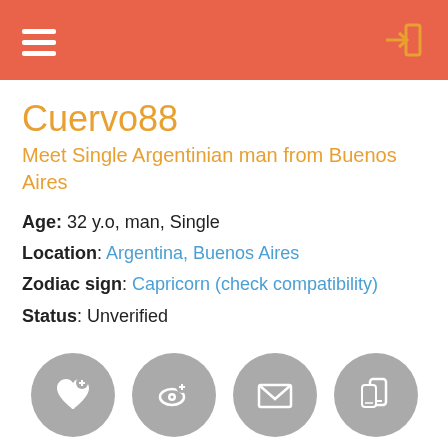Cuervo88
Meet Single Argentinian man from Buenos Aires
Age: 32 y.o, man, Single
Location: Argentina, Buenos Aires
Zodiac sign: Capricorn (check compatibility)
Status: Unverified
[Figure (illustration): Four grey circular action buttons: favorite (heart+plus icon), wink (eye+plus icon), mail (envelope icon), sms (mobile phone icon)]
[Figure (illustration): Two partially visible grey circular action buttons at bottom: chat (speech bubble) and report/flag (triangle)]